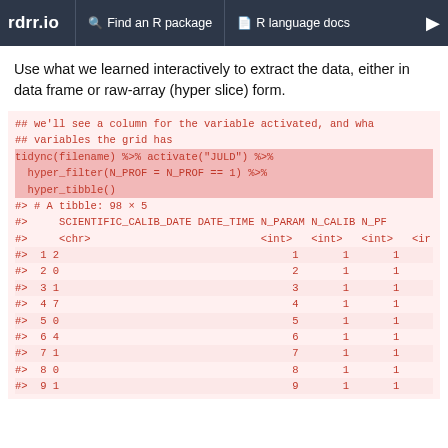rdrr.io   Find an R package   R language docs
Use what we learned interactively to extract the data, either in data frame or raw-array (hyper slice) form.
## we'll see a column for the variable activated, and wha
## variables the grid has
tidync(filename) %>% activate("JULD") %>%
  hyper_filter(N_PROF = N_PROF == 1) %>%
  hyper_tibble()
#> # A tibble: 98 × 5
#>     SCIENTIFIC_CALIB_DATE DATE_TIME N_PARAM N_CALIB N_PF
#>     <chr>                           <int>   <int>   <int>   <ir
#>  1 2                                     1       1       1
#>  2 0                                     2       1       1
#>  3 1                                     3       1       1
#>  4 7                                     4       1       1
#>  5 0                                     5       1       1
#>  6 4                                     6       1       1
#>  7 1                                     7       1       1
#>  8 0                                     8       1       1
#>  9 1                                     9       1       1